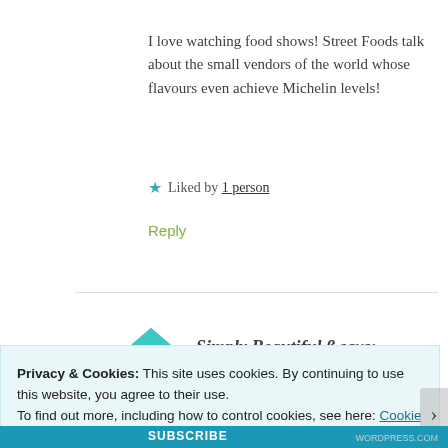I love watching food shows! Street Foods talk about the small vendors of the world whose flavours even achieve Michelin levels!
★ Liked by 1 person
Reply
Simply Beautiful ß says:
Privacy & Cookies: This site uses cookies. By continuing to use this website, you agree to their use.
To find out more, including how to control cookies, see here: Cookie Policy
Close and accept